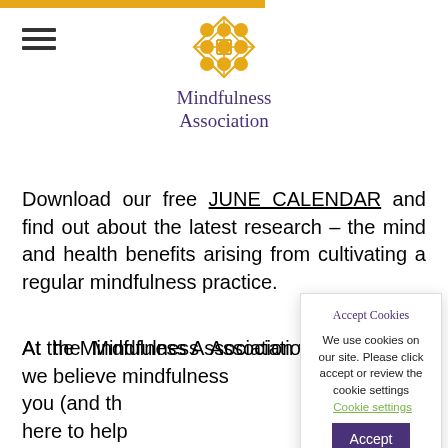Mindfulness Association
Download our free JUNE CALENDAR and find out about the latest research – the mind and health benefits arising from cultivating a regular mindfulness practice.
At the Mindfulness Association we believe mindfulness you (and th here to help steps, thro insight and learn to t mindfulness graduate ma...
Accept Cookies
We use cookies on our site. Please click accept or review the cookie settings   Cookie settings
Accept